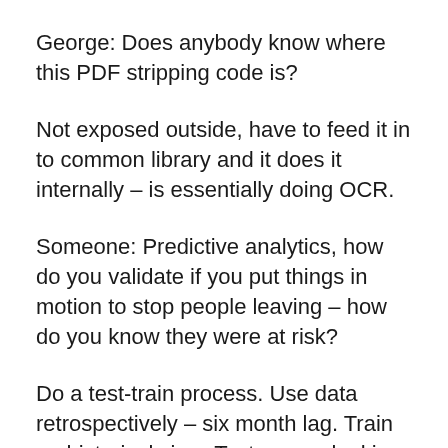George: Does anybody know where this PDF stripping code is?
Not exposed outside, have to feed it in to common library and it does it internally – is essentially doing OCR.
Someone: Predictive analytics, how do you validate if you put things in motion to stop people leaving – how do you know they were at risk?
Do a test-train process. Use data retrospectively – six month lag. Train on historical view. Test comes looking at how effective it was against what actually happened. This is not a static model – very